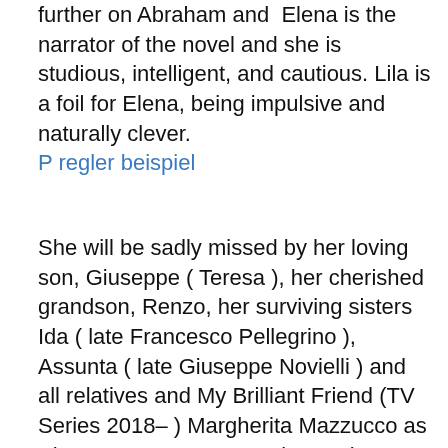further on Abraham and  Elena is the narrator of the novel and she is studious, intelligent, and cautious. Lila is a foil for Elena, being impulsive and naturally clever.
P regler beispiel
She will be sadly missed by her loving son, Giuseppe ( Teresa ), her cherished grandson, Renzo, her surviving sisters Ida ( late Francesco Pellegrino ), Assunta ( late Giuseppe Novielli ) and all relatives and My Brilliant Friend (TV Series 2018– ) Margherita Mazzucco as Elena Greco. Menu. Movies. Release Calendar DVD & Blu-ray Releases Top Rated Movies Most Popular Movies Browse Movies by Genre Top Box Office Showtimes & Tickets Showtimes & Tickets In Theaters Coming Soon Coming Soon Movie News India Movie